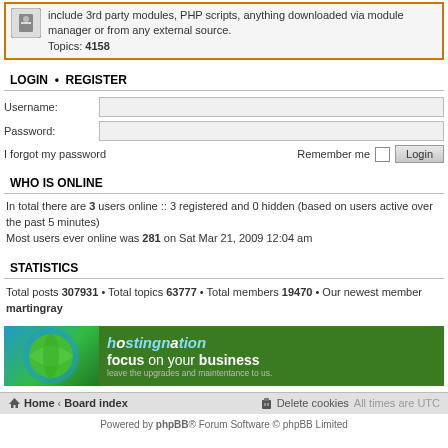include 3rd party modules, PHP scripts, anything downloaded via module manager or from any external source. Topics: 4158
LOGIN • REGISTER
Username:
Password:
I forgot my password   Remember me  Login
WHO IS ONLINE
In total there are 3 users online :: 3 registered and 0 hidden (based on users active over the past 5 minutes)
Most users ever online was 281 on Sat Mar 21, 2009 12:04 am
STATISTICS
Total posts 307931 • Total topics 63777 • Total members 19470 • Our newest member martingray
[Figure (illustration): Hosting Nation banner advertisement: green background with globe graphic on left, 'hostingnation' branding, tagline 'focus on your business – leave the upgrades and maintentance to us.']
Home · Board index   Delete cookies   All times are UTC
Powered by phpBB® Forum Software © phpBB Limited